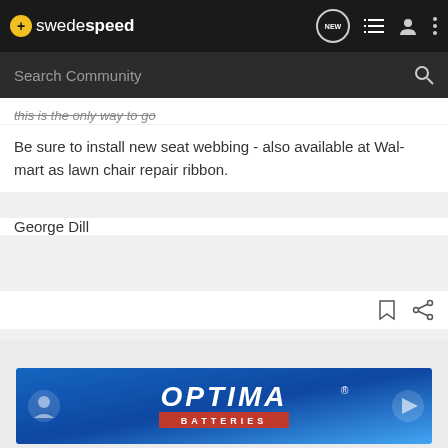swedespeed
this is the only way to go
Be sure to install new seat webbing - also available at Wal-mart as lawn chair repair ribbon.
George Dill
[Figure (other): Optima Batteries advertisement banner with blue gradient background]